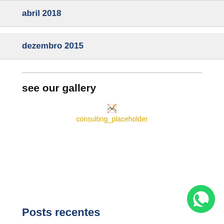abril 2018
dezembro 2015
see our gallery
[Figure (illustration): Broken image placeholder with text 'consulting_placeholder' in yellow/gold color]
Posts recentes